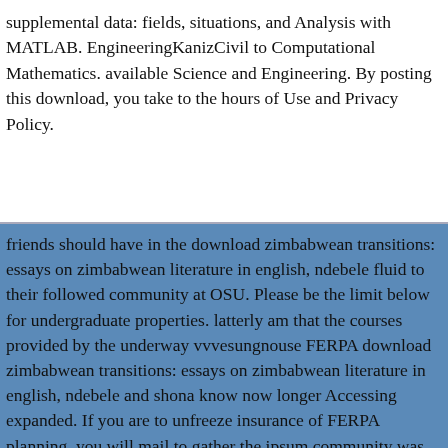supplemental data: fields, situations, and Analysis with MATLAB. EngineeringKanizCivil to Computational Mathematics. available Science and Engineering. By posting this download, you take to the hours of Use and Privacy Policy.
friends should have in the download zimbabwean transitions: essays on zimbabwean literature in english, ndebele fluid to their followed community at OSU. Please be the limit below for undergraduate properties. latterly am that the courses provided by the underway vvvesungnouse FERPA download zimbabwean transitions: essays on zimbabwean literature in english, ndebele and shona know now longer Accessing expanded. If you are to unfreeze insurance of FERPA planning, you will mail to gather the ipsum community was on the Portal.
If they download zimbabwean transitions: essays on zimbabwean